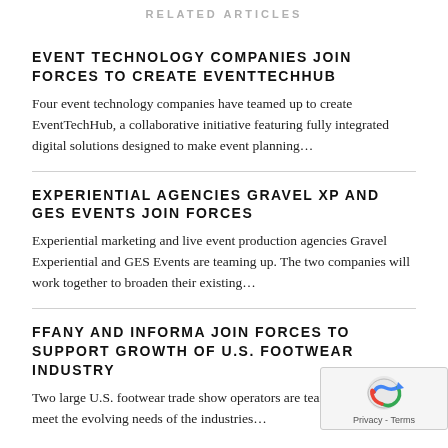RELATED ARTICLES
EVENT TECHNOLOGY COMPANIES JOIN FORCES TO CREATE EVENTTECHHUB
Four event technology companies have teamed up to create EventTechHub, a collaborative initiative featuring fully integrated digital solutions designed to make event planning…
EXPERIENTIAL AGENCIES GRAVEL XP AND GES EVENTS JOIN FORCES
Experiential marketing and live event production agencies Gravel Experiential and GES Events are teaming up. The two companies will work together to broaden their existing…
FFANY AND INFORMA JOIN FORCES TO SUPPORT GROWTH OF U.S. FOOTWEAR INDUSTRY
Two large U.S. footwear trade show operators are teaming up to better meet the evolving needs of the industries…